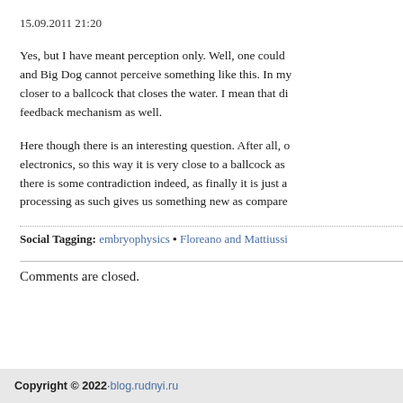15.09.2011 21:20
Yes, but I have meant perception only. Well, one could and Big Dog cannot perceive something like this. In my closer to a ballcock that closes the water. I mean that di feedback mechanism as well.
Here though there is an interesting question. After all, o electronics, so this way it is very close to a ballcock as there is some contradiction indeed, as finally it is just a processing as such gives us something new as compared
Social Tagging: embryophysics • Floreano and Mattiussi
Comments are closed.
Copyright © 2022 · blog.rudnyi.ru